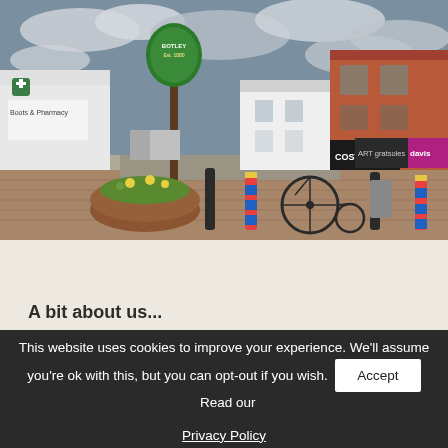[Figure (photo): Street scene of a UK town centre showing shops including Costa, ART, and Davis. There is a decorative penny-farthing bicycle sculpture in the foreground, a village sign on a post, a circular brick planter with flowers, colourful bollards, and brick paving. The sky is cloudy.]
A bit about us...
This website uses cookies to improve your experience. We'll assume you're ok with this, but you can opt-out if you wish. Accept Read our Privacy Policy